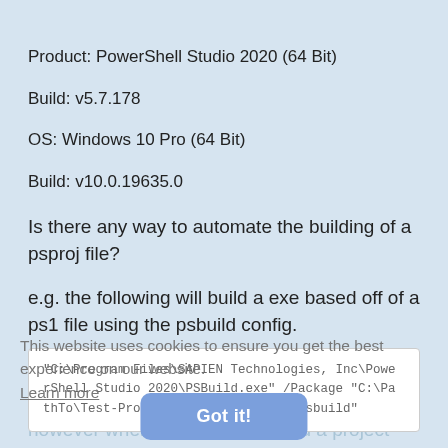Product: PowerShell Studio 2020 (64 Bit)
Build: v5.7.178
OS: Windows 10 Pro (64 Bit)
Build: v10.0.19635.0
Is there any way to automate the building of a psproj file?
e.g. the following will build a exe based off of a ps1 file using the psbuild config.
"C:\Program Files\SAPIEN Technologies, Inc\PowerShell Studio 2020\PSBuild.exe" /Package "C:\PathTo\Test-Project\TestProject.ps1.psbuild"
This website uses cookies to ensure you get the best experience on our website.
Learn more
Got it!
however when attempting to build a project the...